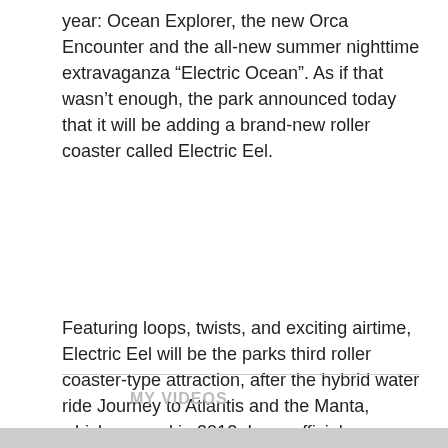year: Ocean Explorer, the new Orca Encounter and the all-new summer nighttime extravaganza “Electric Ocean”. As if that wasn’t enough, the park announced today that it will be adding a brand-new roller coaster called Electric Eel.
Featuring loops, twists, and exciting airtime, Electric Eel will be the parks third roller coaster-type attraction, after the hybrid water ride Journey to Atlantis and the Manta, which opened in 2012. In an official statement, the park’s president Marilyn Hannes commented, “This new, first-of-its-kind coaster at SeaWorld will give riders the rare opportunity to feel what it’s like to move like an eel as they twist and flip along nearly 900 feet of undulating track.”
MY VIDEOS